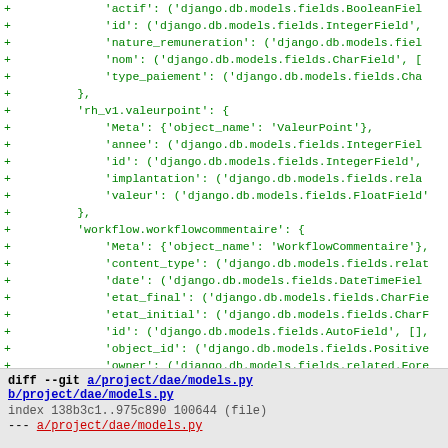Diff/code view showing Django migration file contents with added lines for model fields including actif, id, nature_remuneration, nom, type_paiement, rh_v1.valeurpoint, Meta, annee, id, implantation, valeur, workflow.workflowcommentaire, Meta, content_type, date, etat_final, etat_initial, id, object_id, owner, texte, complete_apps = ['dae']
diff --git a/project/dae/models.py b/project/dae/models.py
index 138b3c1..975c890 100644 (file)
--- a/project/dae/models.py